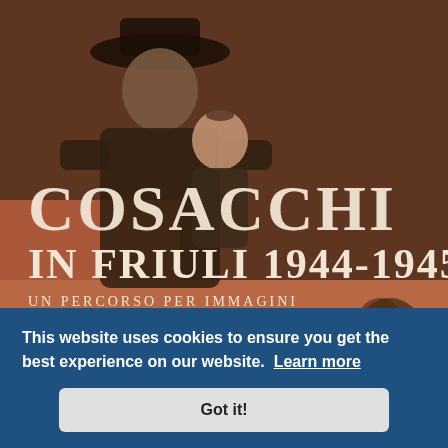[Figure (photo): Book cover of 'Cosacchi in Friuli 1944-1945 - Un Percorso per Immagini' by Enrico Folisi. Shows a sepia/orange-toned photograph of a Cossack man in a military hat holding a young child, with other figures visible in the background. The title text is overlaid in large serif font.]
This website uses cookies to ensure you get the best experience on our website. Learn more
Got it!